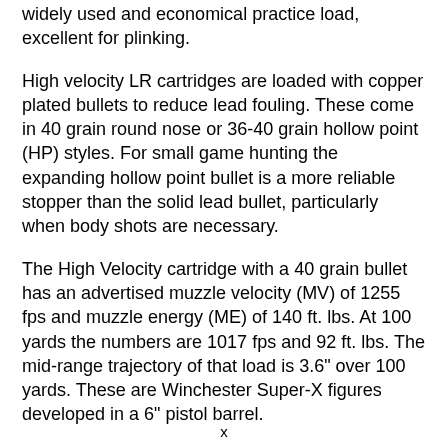widely used and economical practice load, excellent for plinking.
High velocity LR cartridges are loaded with copper plated bullets to reduce lead fouling. These come in 40 grain round nose or 36-40 grain hollow point (HP) styles. For small game hunting the expanding hollow point bullet is a more reliable stopper than the solid lead bullet, particularly when body shots are necessary.
The High Velocity cartridge with a 40 grain bullet has an advertised muzzle velocity (MV) of 1255 fps and muzzle energy (ME) of 140 ft. lbs. At 100 yards the numbers are 1017 fps and 92 ft. lbs. The mid-range trajectory of that load is 3.6" over 100 yards. These are Winchester Super-X figures developed in a 6" pistol barrel.
The LR High Velocity HP cartridge is the
x